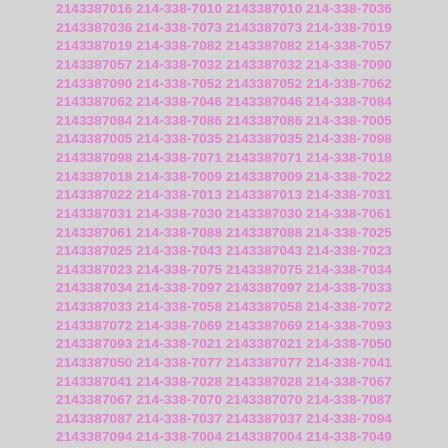2143387016 214-338-7010 2143387010 214-338-7036 2143387036 214-338-7073 2143387073 214-338-7019 2143387019 214-338-7082 2143387082 214-338-7057 2143387057 214-338-7032 2143387032 214-338-7090 2143387090 214-338-7052 2143387052 214-338-7062 2143387062 214-338-7046 2143387046 214-338-7084 2143387084 214-338-7086 2143387086 214-338-7005 2143387005 214-338-7035 2143387035 214-338-7098 2143387098 214-338-7071 2143387071 214-338-7018 2143387018 214-338-7009 2143387009 214-338-7022 2143387022 214-338-7013 2143387013 214-338-7031 2143387031 214-338-7030 2143387030 214-338-7061 2143387061 214-338-7088 2143387088 214-338-7025 2143387025 214-338-7043 2143387043 214-338-7023 2143387023 214-338-7075 2143387075 214-338-7034 2143387034 214-338-7097 2143387097 214-338-7033 2143387033 214-338-7058 2143387058 214-338-7072 2143387072 214-338-7069 2143387069 214-338-7093 2143387093 214-338-7021 2143387021 214-338-7050 2143387050 214-338-7077 2143387077 214-338-7041 2143387041 214-338-7028 2143387028 214-338-7067 2143387067 214-338-7070 2143387070 214-338-7087 2143387087 214-338-7037 2143387037 214-338-7094 2143387094 214-338-7004 2143387004 214-338-7049 2143387049 214-338-7054 2143387054 214-338-7055